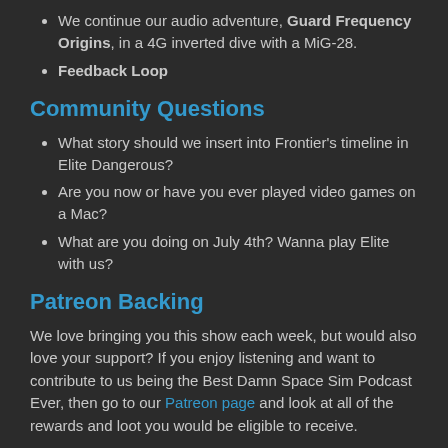We continue our audio adventure, Guard Frequency Origins, in a 4G inverted dive with a MiG-28.
Feedback Loop
Community Questions
What story should we insert into Frontier's timeline in Elite Dangerous?
Are you now or have you ever played video games on a Mac?
What are you doing on July 4th? Wanna play Elite with us?
Patreon Backing
We love bringing you this show each week, but would also love your support? If you enjoy listening and want to contribute to us being the Best Damn Space Sim Podcast Ever, then go to our Patreon page and look at all of the rewards and loot you would be eligible to receive.
Join Us In Game!